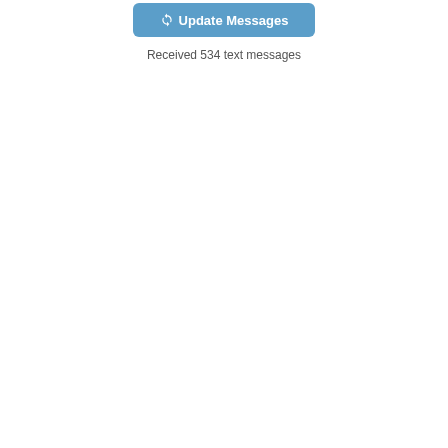[Figure (screenshot): A blue rounded button labeled 'Update Messages' with a refresh/sync icon on the left side of the text]
Received 534 text messages